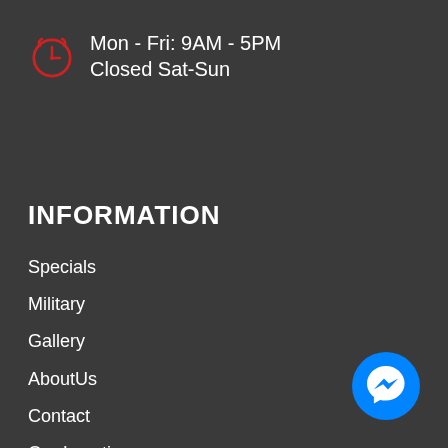[Figure (illustration): Red alarm clock icon]
Mon - Fri: 9AM - 5PM
Closed Sat-Sun
INFORMATION
Specials
Military
Gallery
AboutUs
Contact
Our Location
Blog
Privacy Policy
Terms Of Use
[Figure (logo): Blue circular Facebook Messenger icon button in bottom right corner]